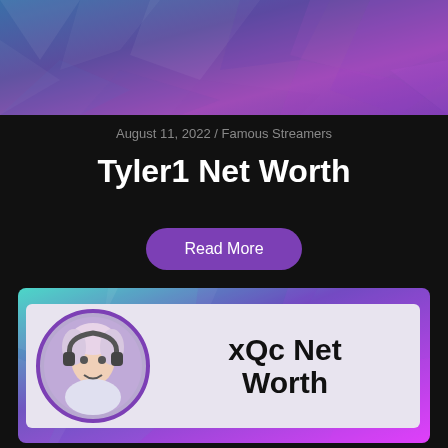[Figure (illustration): Colorful polygonal geometric background banner in blue-purple tones at top of page]
August 11, 2022 / Famous Streamers
Tyler1 Net Worth
Read More
[Figure (illustration): xQc Net Worth card with purple-teal polygonal background, circular avatar photo of xQc (streamer with pink/white hair and headset), and white banner with bold text 'xQc Net Worth']